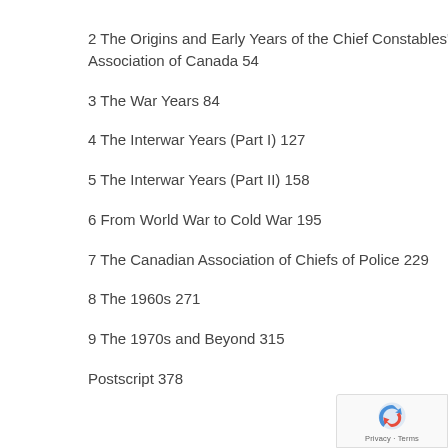2 The Origins and Early Years of the Chief Constables' Association of Canada 54
3 The War Years 84
4 The Interwar Years (Part I) 127
5 The Interwar Years (Part II) 158
6 From World War to Cold War 195
7 The Canadian Association of Chiefs of Police 229
8 The 1960s 271
9 The 1970s and Beyond 315
Postscript 378